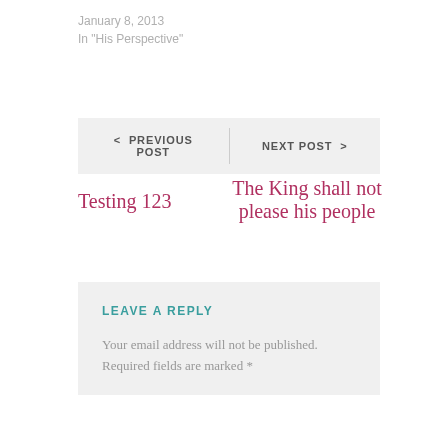January 8, 2013
In "His Perspective"
< PREVIOUS POST   NEXT POST >
Testing 123
The King shall not please his people
LEAVE A REPLY
Your email address will not be published. Required fields are marked *